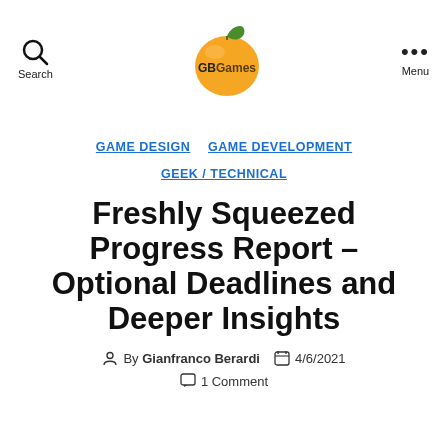GBGames
GAME DESIGN  GAME DEVELOPMENT  GEEK / TECHNICAL
Freshly Squeezed Progress Report – Optional Deadlines and Deeper Insights
By Gianfranco Berardi  4/6/2021
1 Comment